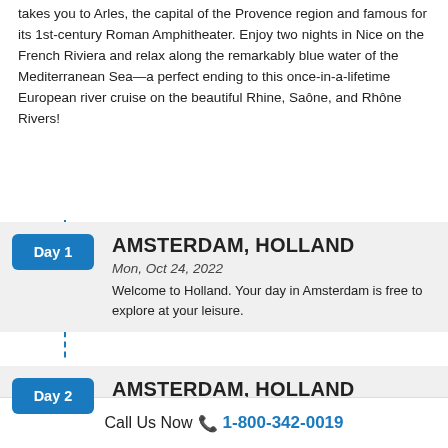takes you to Arles, the capital of the Provence region and famous for its 1st-century Roman Amphitheater. Enjoy two nights in Nice on the French Riviera and relax along the remarkably blue water of the Mediterranean Sea—a perfect ending to this once-in-a-lifetime European river cruise on the beautiful Rhine, Saône, and Rhône Rivers!
Day 1 — AMSTERDAM, HOLLAND
Mon, Oct 24, 2022
Welcome to Holland. Your day in Amsterdam is free to explore at your leisure.
Day 2 — AMSTERDAM, HOLLAND (EMBARKATION)
Tue, Oct 25, 2022
Amsterdam Off the Beaten Path. Your Suite Ship® is Ready for Boarding. CLASSIC Discover the true
Call Us Now 📞 1-800-342-0019